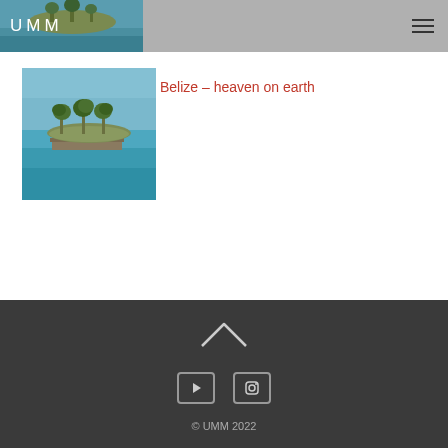UMM
[Figure (photo): Small tropical island with palm trees surrounded by turquoise water — thumbnail image for Belize article]
Belize – heaven on earth
© UMM 2022